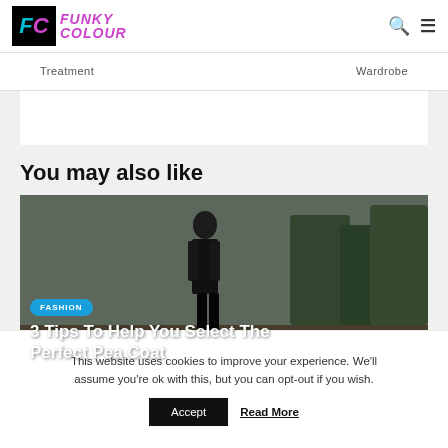Funky Colour
Treatment   Wardrobe
You may also like
[Figure (photo): Woman in dark puffer jacket walking outdoors with trees in background. Badge: FASHION. Title: 3 Tips To Help You Select The Perfect Pea Coat]
This website uses cookies to improve your experience. We'll assume you're ok with this, but you can opt-out if you wish. Accept  Read More